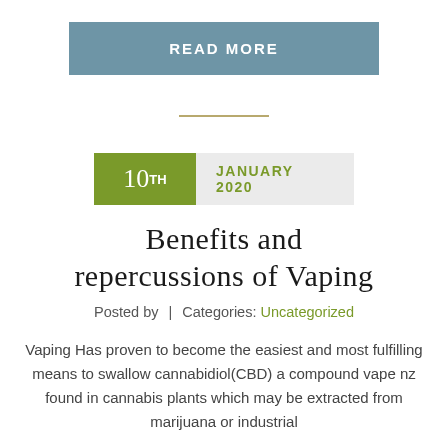[Figure (other): READ MORE button in steel blue/slate color]
10TH JANUARY 2020
Benefits and Repercussions of Vaping
Posted by | Categories: Uncategorized
Vaping Has proven to become the easiest and most fulfilling means to swallow cannabidiol(CBD) a compound vape nz found in cannabis plants which may be extracted from marijuana or industrial